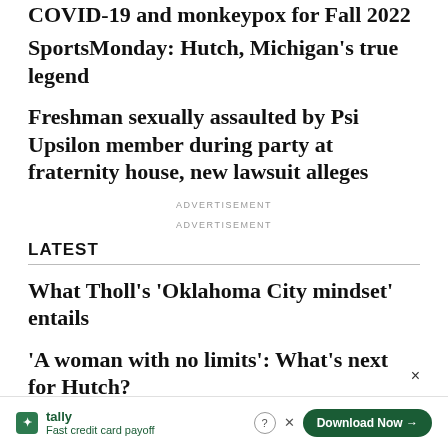COVID-19 and monkeypox for Fall 2022
SportsMonday: Hutch, Michigan's true legend
Freshman sexually assaulted by Psi Upsilon member during party at fraternity house, new lawsuit alleges
ADVERTISEMENT
ADVERTISEMENT
LATEST
What Tholl's 'Oklahoma City mindset' entails
'A woman with no limits': What's next for Hutch?
[Figure (infographic): Tally app advertisement banner at the bottom of the page with green branding, 'Fast credit card payoff' tagline, and 'Download Now' button]